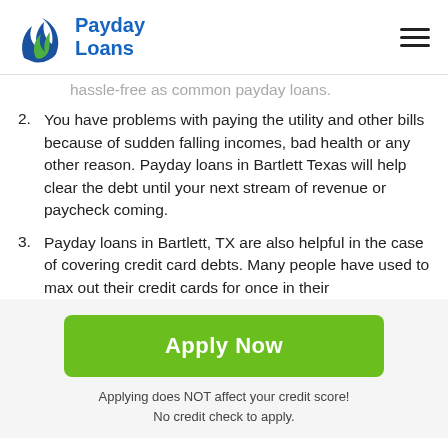Payday Loans
hassle-free as common payday loans.
2. You have problems with paying the utility and other bills because of sudden falling incomes, bad health or any other reason. Payday loans in Bartlett Texas will help clear the debt until your next stream of revenue or paycheck coming.
3. Payday loans in Bartlett, TX are also helpful in the case of covering credit card debts. Many people have used to max out their credit cards for once in their
[Figure (other): Apply Now button - green rounded rectangle CTA button]
Applying does NOT affect your credit score!
No credit check to apply.